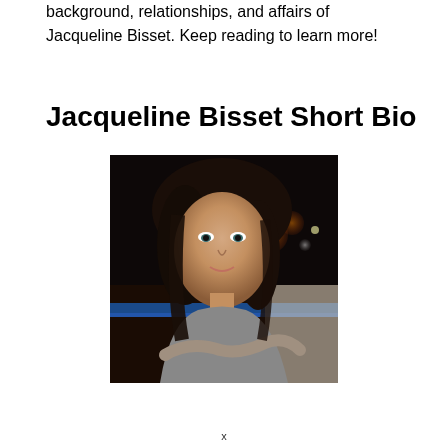background, relationships, and affairs of Jacqueline Bisset. Keep reading to learn more!
Jacqueline Bisset Short Bio
[Figure (photo): Portrait photo of Jacqueline Bisset, a woman with long dark hair wearing a grey top, leaning forward with arms crossed, city lights visible in background at night]
x